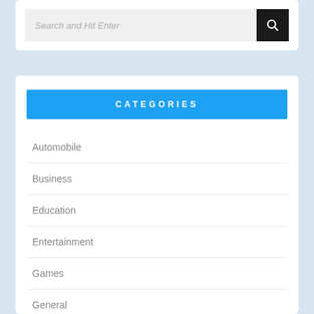[Figure (screenshot): Search bar with placeholder text 'Search and Hit Enter' and a dark search button with magnifying glass icon]
CATEGORIES
Automobile
Business
Education
Entertainment
Games
General
Health